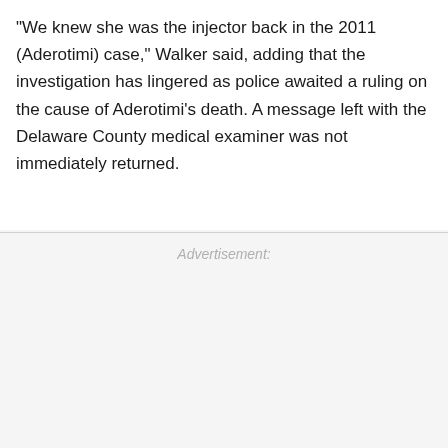"We knew she was the injector back in the 2011 (Aderotimi) case," Walker said, adding that the investigation has lingered as police awaited a ruling on the cause of Aderotimi's death. A message left with the Delaware County medical examiner was not immediately returned.
Advertisement: